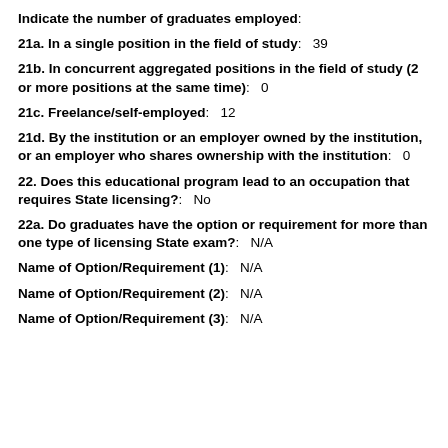Indicate the number of graduates employed:
21a. In a single position in the field of study: 39
21b. In concurrent aggregated positions in the field of study (2 or more positions at the same time): 0
21c. Freelance/self-employed: 12
21d. By the institution or an employer owned by the institution, or an employer who shares ownership with the institution: 0
22. Does this educational program lead to an occupation that requires State licensing?: No
22a. Do graduates have the option or requirement for more than one type of licensing State exam?: N/A
Name of Option/Requirement (1): N/A
Name of Option/Requirement (2): N/A
Name of Option/Requirement (3): N/A